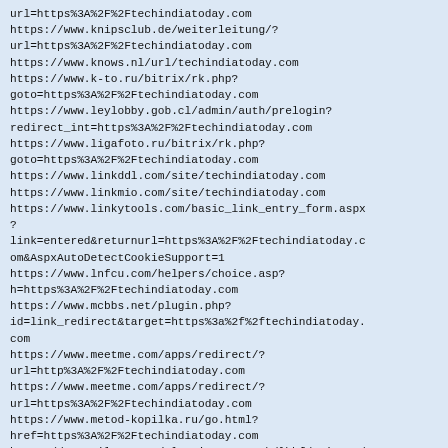url=https%3A%2F%2Ftechindiatoday.com
https://www.knipsclub.de/weiterleitung/?url=https%3A%2F%2Ftechindiatoday.com
https://www.knows.nl/url/techindiatoday.com
https://www.k-to.ru/bitrix/rk.php?goto=https%3A%2F%2Ftechindiatoday.com
https://www.leylobby.gob.cl/admin/auth/prelogin?redirect_int=https%3A%2F%2Ftechindiatoday.com
https://www.ligafoto.ru/bitrix/rk.php?goto=https%3A%2F%2Ftechindiatoday.com
https://www.linkddl.com/site/techindiatoday.com
https://www.linkmio.com/site/techindiatoday.com
https://www.linkytools.com/basic_link_entry_form.aspx?link=entered&returnurl=https%3A%2F%2Ftechindiatoday.com&AspxAutoDetectCookieSupport=1
https://www.lnfcu.com/helpers/choice.asp?h=https%3A%2F%2Ftechindiatoday.com
https://www.mcbbs.net/plugin.php?id=link_redirect&target=https%3a%2f%2ftechindiatoday.com
https://www.meetme.com/apps/redirect/?url=http%3A%2F%2Ftechindiatoday.com
https://www.meetme.com/apps/redirect/?url=https%3A%2F%2Ftechindiatoday.com
https://www.metod-kopilka.ru/go.html?href=https%3A%2F%2Ftechindiatoday.com
https://www.milescoverdaleprimary.co.uk/lbhf/primary/milescoverdale/CookiePolicy.action?backto=https%3A%2F%2Ftechindiatoday.com